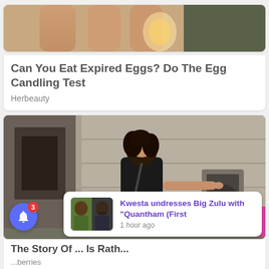[Figure (photo): Close-up of fingers holding an egg against light (egg candling)]
Can You Eat Expired Eggs? Do The Egg Candling Test
Herbeauty
[Figure (photo): Woman in black top and orange skirt pointing at small arched window in stone wall on a street]
The Story Of ... Is Rath...
...berries
[Figure (photo): Two men portrait photos side by side - music artists Kwesta and Big Zulu]
Kwesta undresses Big Zulu with "Quantham (First
1 hour ago